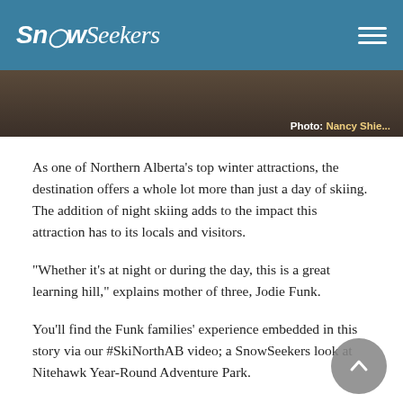SnowSeekers
[Figure (photo): Partial photo strip with credit: Photo: Nancy Shie...]
Photo: Nancy Shie...
As one of Northern Alberta’s top winter attractions, the destination offers a whole lot more than just a day of skiing. The addition of night skiing adds to the impact this attraction has to its locals and visitors.
“Whether it’s at night or during the day, this is a great learning hill,” explains mother of three, Jodie Funk.
You’ll find the Funk families’ experience embedded in this story via our #SkiNorthAB video; a SnowSeekers look at Nitehawk Year-Round Adventure Park.
“This place is ideal for us. We’re so busy as a family, that it makes for the perfect little getaway. Whether it’s for two hours at night or a weekend. To have this downtime...